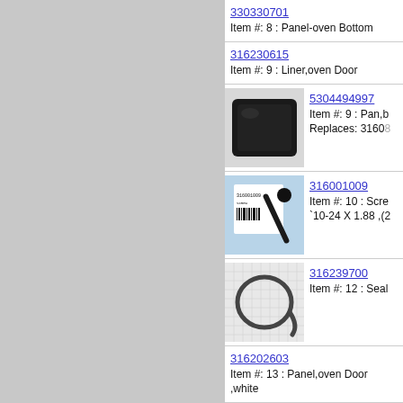[Figure (other): Gray left panel placeholder]
330330701
Item #: 8 : Panel-oven Bottom
316230615
Item #: 9 : Liner,oven Door
[Figure (photo): Black oven pan/tray]
5304494997
Item #: 9 : Pan,b
Replaces: 3160...
[Figure (photo): Screw 316001009 with barcode label]
316001009
Item #: 10 : Screw
`10-24 X 1.88 ,(2...
[Figure (photo): Oven door seal/gasket coiled]
316239700
Item #: 12 : Seal...
316202603
Item #: 13 : Panel,oven Door ,white
316020202
Item #: 39 : Handle,oven Door ,whi...
316137000